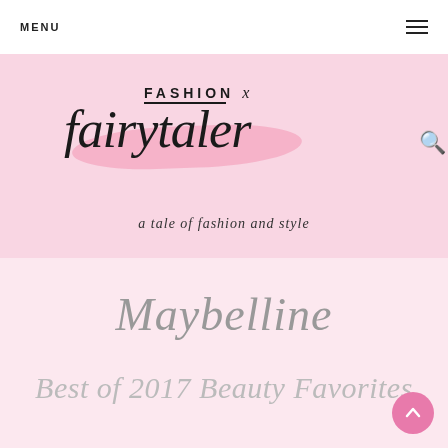MENU
[Figure (logo): Fashion x Fairytale blog logo with pink brush stroke background and tagline 'a tale of fashion and style']
Maybelline
Best of 2017 Beauty Favorites